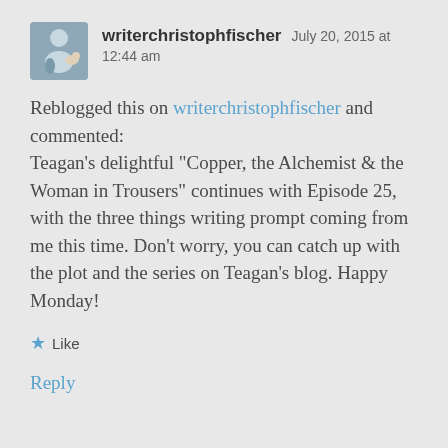writerchristophfischer   July 20, 2015 at 12:44 am
Reblogged this on writerchristophfischer and commented:
Teagan’s delightful “Copper, the Alchemist & the Woman in Trousers” continues with Episode 25, with the three things writing prompt coming from me this time. Don’t worry, you can catch up with the plot and the series on Teagan’s blog. Happy Monday!
★ Like
Reply